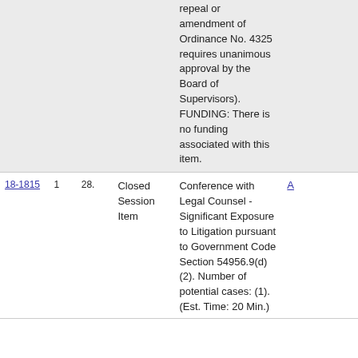| ID |  |  | Type | Description | Attachment |
| --- | --- | --- | --- | --- | --- |
|  |  |  |  | repeal or amendment of Ordinance No. 4325 requires unanimous approval by the Board of Supervisors). FUNDING: There is no funding associated with this item. |  |
| 18-1815 | 1 | 28. | Closed Session Item | Conference with Legal Counsel - Significant Exposure to Litigation pursuant to Government Code Section 54956.9(d)(2). Number of potential cases: (1). (Est. Time: 20 Min.) | A |